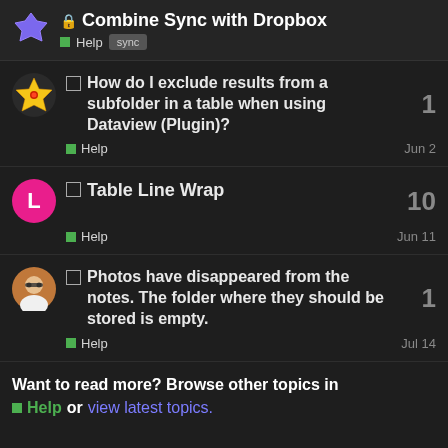🔒 Combine Sync with Dropbox
■ Help  sync
How do I exclude results from a subfolder in a table when using Dataview (Plugin)?
■ Help   Jun 2   1
Table Line Wrap
■ Help   Jun 11   10
Photos have disappeared from the notes. The folder where they should be stored is empty.
■ Help   Jul 14   1
Want to read more? Browse other topics in
■ Help or view latest topics.